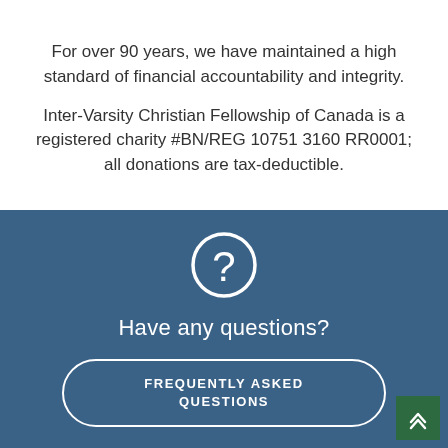For over 90 years, we have maintained a high standard of financial accountability and integrity.
Inter-Varsity Christian Fellowship of Canada is a registered charity #BN/REG 10751 3160 RR0001; all donations are tax-deductible.
[Figure (illustration): White circle with question mark icon on blue background]
Have any questions?
FREQUENTLY ASKED QUESTIONS